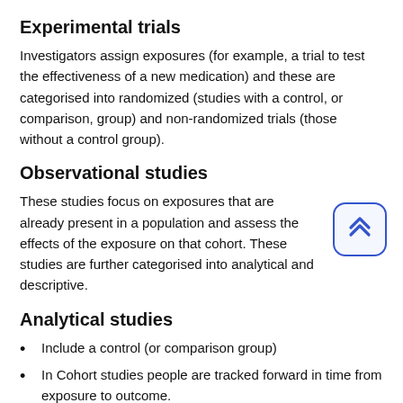Experimental trials
Investigators assign exposures (for example, a trial to test the effectiveness of a new medication) and these are categorised into randomized (studies with a control, or comparison, group) and non-randomized trials (those without a control group).
Observational studies
These studies focus on exposures that are already present in a population and assess the effects of the exposure on that cohort. These studies are further categorised into analytical and descriptive.
Analytical studies
Include a control (or comparison group)
In Cohort studies people are tracked forward in time from exposure to outcome.
Case-control studies, by contrast, trace back from outcome to exposure.
Cross-sectional studies are like a snapshot in time, measuring